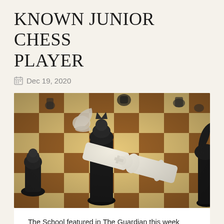KNOWN JUNIOR CHESS PLAYER
Dec 19, 2020
[Figure (photo): Photograph of a chess board with black and white chess pieces. A white king piece is knocked over lying on its side, surrounded by a black queen, black pawns, white knight, and other pieces on a wooden chessboard with alternating light and dark squares.]
The School featured in The Guardian this week